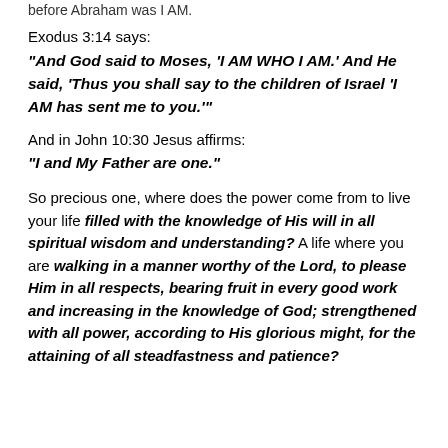before Abraham was I AM.
Exodus 3:14 says:
“And God said to Moses, ‘I AM WHO I AM.’ And He said, ‘Thus you shall say to the children of Israel ‘I AM has sent me to you.’”
And in John 10:30 Jesus affirms:
“I and My Father are one.”
So precious one, where does the power come from to live your life filled with the knowledge of His will in all spiritual wisdom and understanding? A life where you are walking in a manner worthy of the Lord, to please Him in all respects, bearing fruit in every good work and increasing in the knowledge of God; strengthened with all power, according to His glorious might, for the attaining of all steadfastness and patience?